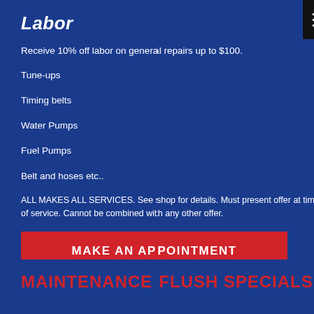Labor
Receive 10% off labor on general repairs up to $100.
Tune-ups
Timing belts
Water Pumps
Fuel Pumps
Belt and hoses etc..
ALL MAKES ALL SERVICES. See shop for details. Must present offer at time of service. Cannot be combined with any other offer.
MAKE AN APPOINTMENT
Print Coupon
EXP 9/30/2022
MAINTENANCE FLUSH SPECIALS